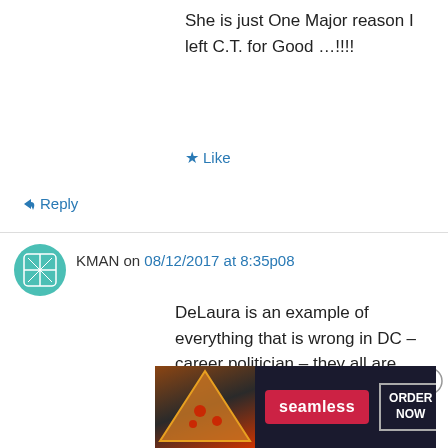She is just One Major reason I left C.T. for Good …!!!!
★ Like
↳ Reply
KMAN on 08/12/2017 at 8:35p08
DeLaura is an example of everything that is wrong in DC – career politician – they all are.
Must have Term limits for these people – whether Dems or Reps
Advertisements
[Figure (photo): Seamless food delivery advertisement banner showing pizza and 'ORDER NOW' button]